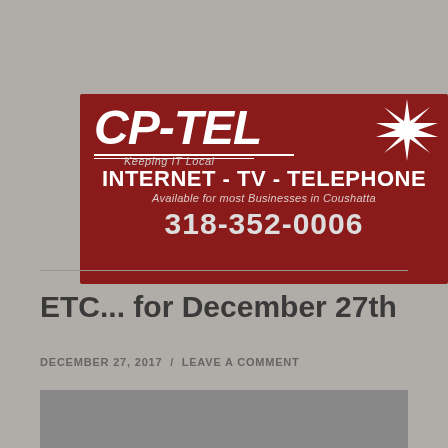[Figure (logo): CP-TEL advertisement banner with dark red background. Shows CP-TEL logo with starburst graphic and tagline 'Keeping IT Local'. Below: INTERNET - TV - TELEPHONE, Available for most Businesses in Coushatta, phone number 318-352-0006.]
ETC... for December 27th
DECEMBER 27, 2017 / LEAVE A COMMENT